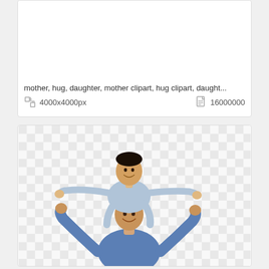mother, hug, daughter, mother clipart, hug clipart, daught...
4000x4000px   16000000
[Figure (photo): A man with a child sitting on his shoulders, both smiling and raising their arms, on a transparent/checkered background]